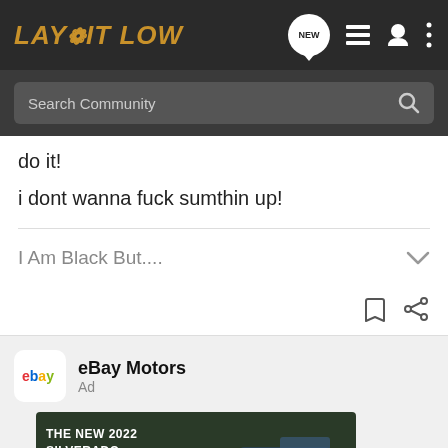LAY IT LOW
do it!
i dont wanna fuck sumthin up!
I Am Black But....
[Figure (screenshot): eBay Motors ad banner showing The New 2022 Silverado Chevrolet truck with Explore button]
The righ